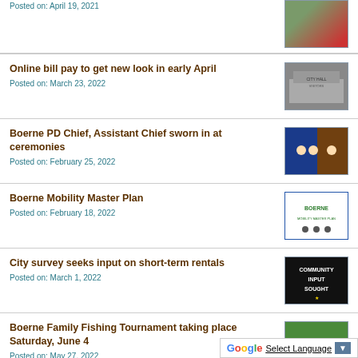Posted on: April 19, 2021
Online bill pay to get new look in early April
Posted on: March 23, 2022
[Figure (photo): City Hall building exterior photo]
Boerne PD Chief, Assistant Chief sworn in at ceremonies
Posted on: February 25, 2022
[Figure (photo): Ceremony photo with blue background]
Boerne Mobility Master Plan
Posted on: February 18, 2022
[Figure (logo): Boerne Mobility Master Plan logo]
City survey seeks input on short-term rentals
Posted on: March 1, 2022
[Figure (photo): Community Input Sought graphic on dark background]
Boerne Family Fishing Tournament taking place Saturday, June 4
Posted on: May 27, 2022
[Figure (photo): Fishing tournament photo]